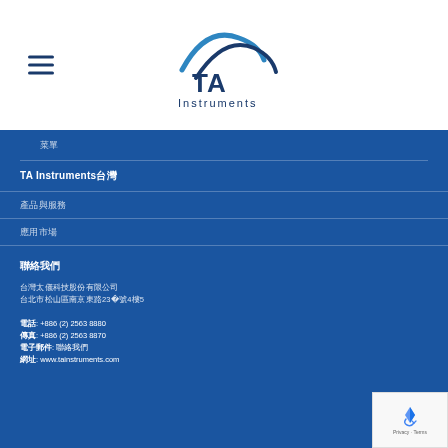[Figure (logo): TA Instruments logo with swoosh arc above TA text and 'Instruments' below]
菜單
TA Instruments台灣
產品與服務
應用市場
聯絡我們
台灣太儀科技股份有限公司
台北市松山區南京東路23段4號5樓
電話: +886 (2) 2563 8880
傳真: +886 (2) 2563 8870
電子郵件: 聯絡我們
網址: www.tainstruments.com